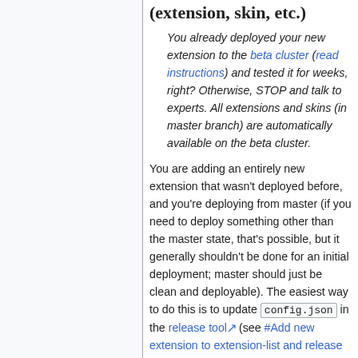(extension, skin, etc.)
You already deployed your new extension to the beta cluster (read instructions) and tested it for weeks, right? Otherwise, STOP and talk to experts. All extensions and skins (in master branch) are automatically available on the beta cluster.
You are adding an entirely new extension that wasn't deployed before, and you're deploying from master (if you need to deploy something other than the master state, that's possible, but it generally shouldn't be done for an initial deployment; master should just be clean and deployable). The easiest way to do this is to update config.json in the release tool (see #Add new extension to extension-list and release tools) and